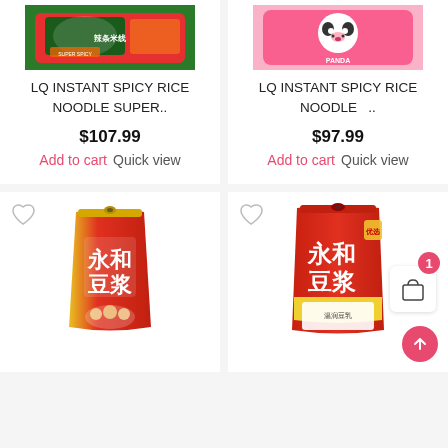[Figure (photo): Product image of LQ Instant Spicy Rice Noodle Super - red and green packaging with bowl graphic]
LQ INSTANT SPICY RICE NOODLE SUPER..
$107.99
Add to cart  Quick view
[Figure (photo): Product image of LQ Instant Spicy Rice Noodle - pink panda themed packaging]
LQ INSTANT SPICY RICE NOODLE   ..
$97.99
Add to cart  Quick view
[Figure (photo): Yonghe Soy Milk red pouch bag product image]
[Figure (photo): Yonghe Soy Milk large red bag product image]